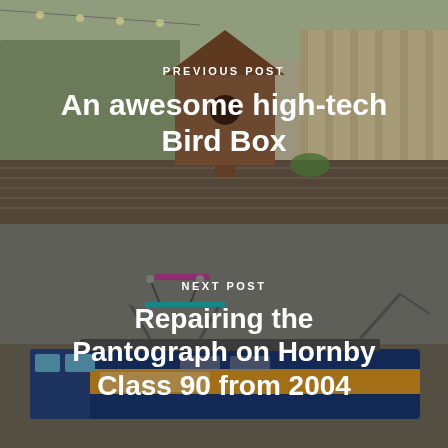[Figure (photo): Outdoor garden scene with a wooden bird box sitting on a wooden deck table, with fence and plants in the background. Moderately darkened overlay.]
PREVIOUS POST
An awesome high-tech Bird Box
[Figure (photo): Close-up of a Hornby Class 90 model train from 2004, showing the pantograph mechanism on top, with colorful Anglia livery branding visible.]
NEXT POST
Repairing the Pantograph on Hornby Class 90 from 2004